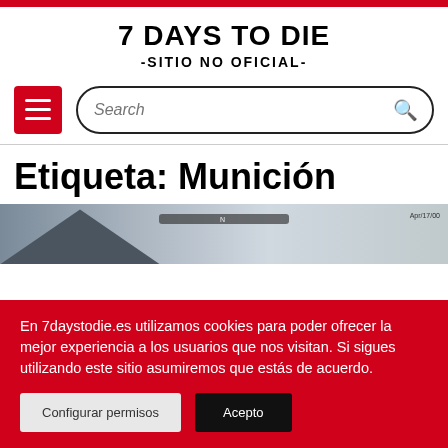7 DAYS TO DIE -SITIO NO OFICIAL-
[Figure (screenshot): Navigation bar with red hamburger menu button and rounded search bar]
Etiqueta: Munición
[Figure (screenshot): Screenshot of game/website content showing mountain landscape and UI compass bar]
En 7daystodie.es utilizamos cookies para poder ofrecer la mejor experiencia a los usuarios que nos visitan. Si sigues utilizando este sitio asumiremos que estás de acuerdo.